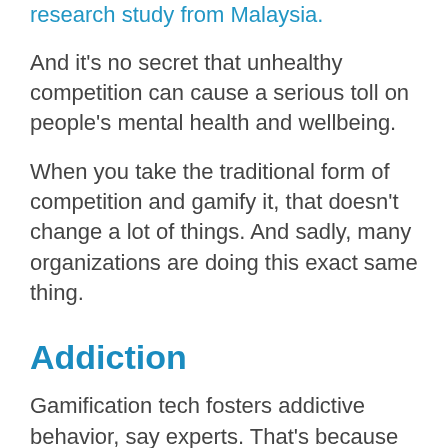research study from Malaysia.
And it’s no secret that unhealthy competition can cause a serious toll on people’s mental health and wellbeing.
When you take the traditional form of competition and gamify it, that doesn’t change a lot of things. And sadly, many organizations are doing this exact same thing.
Addiction
Gamification tech fosters addictive behavior, say experts. That’s because gamification uses game elements that can put users into a state of hyperarousal. When that happens, your